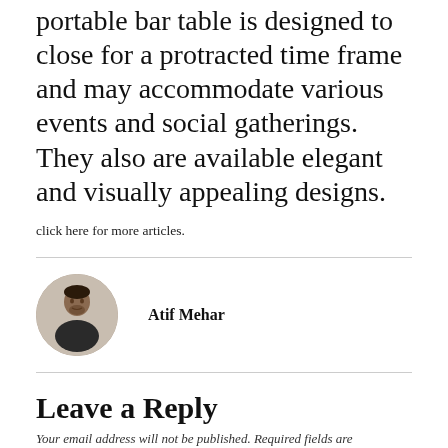portable bar table is designed to close for a protracted time frame and may accommodate various events and social gatherings. They also are available elegant and visually appealing designs.
click here for more articles.
[Figure (photo): Circular avatar photo of author Atif Mehar, a man in dark clothing]
Atif Mehar
Leave a Reply
Your email address will not be published. Required fields are